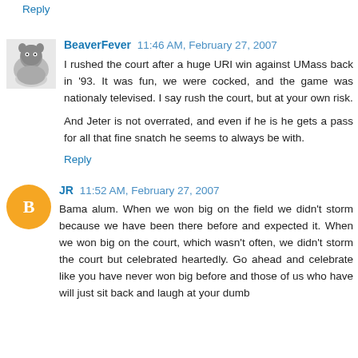Reply
BeaverFever  11:46 AM, February 27, 2007
I rushed the court after a huge URI win against UMass back in '93. It was fun, we were cocked, and the game was nationaly televised. I say rush the court, but at your own risk.

And Jeter is not overrated, and even if he is he gets a pass for all that fine snatch he seems to always be with.
Reply
JR  11:52 AM, February 27, 2007
Bama alum. When we won big on the field we didn't storm because we have been there before and expected it. When we won big on the court, which wasn't often, we didn't storm the court but celebrated heartedly. Go ahead and celebrate like you have never won big before and those of us who have will just sit back and laugh at your dumb